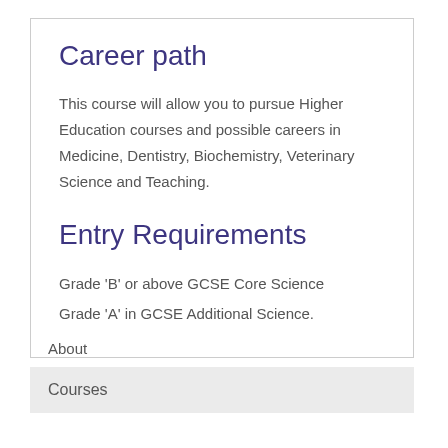Career path
This course will allow you to pursue Higher Education courses and possible careers in Medicine, Dentistry, Biochemistry, Veterinary Science and Teaching.
Entry Requirements
Grade 'B' or above GCSE Core Science
Grade 'A' in GCSE Additional Science.
About
Courses